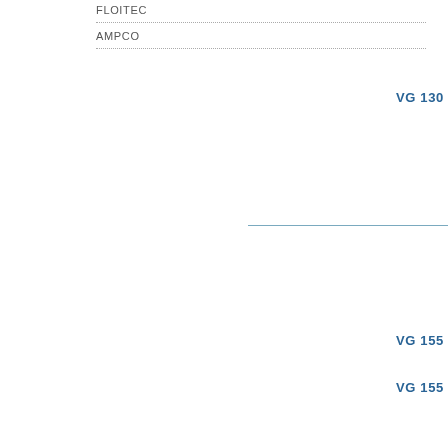FLOITEC
AMPCO
VG 130
VG 155
VG 255
VN 95